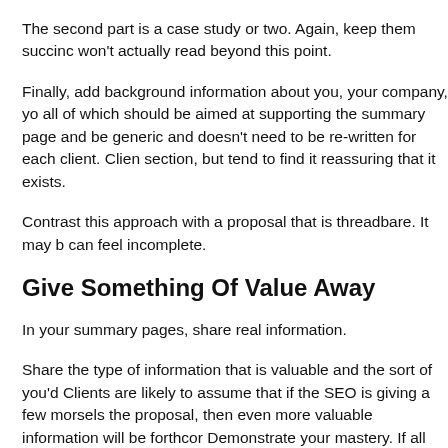The second part is a case study or two. Again, keep them succinct won't actually read beyond this point.
Finally, add background information about you, your company, you all of which should be aimed at supporting the summary page and be generic and doesn't need to be re-written for each client. Clien section, but tend to find it reassuring that it exists.
Contrast this approach with a proposal that is threadbare. It may b can feel incomplete.
Give Something Of Value Away
In your summary pages, share real information.
Share the type of information that is valuable and the sort of you'd Clients are likely to assume that if the SEO is giving a few morsels the proposal, then even more valuable information will be forthcom Demonstrate your mastery. If all you do is provide generic informa proposal is less likely to stand out.